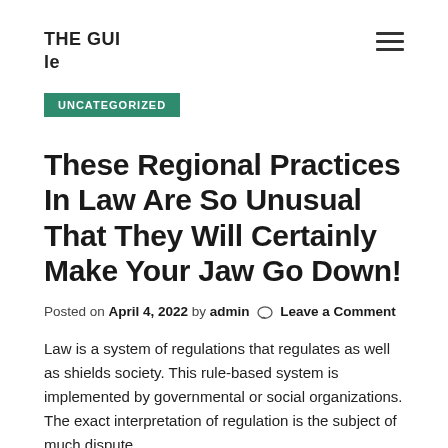THE GUI
le
UNCATEGORIZED
These Regional Practices In Law Are So Unusual That They Will Certainly Make Your Jaw Go Down!
Posted on April 4, 2022 by admin   Leave a Comment
Law is a system of regulations that regulates as well as shields society. This rule-based system is implemented by governmental or social organizations. The exact interpretation of regulation is the subject of much dispute